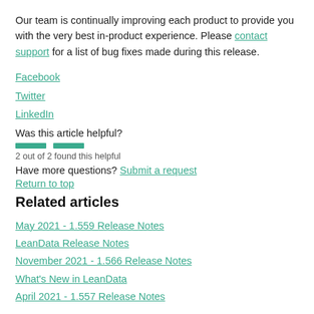Our team is continually improving each product to provide you with the very best in-product experience. Please contact support for a list of bug fixes made during this release.
Facebook
Twitter
LinkedIn
Was this article helpful?
2 out of 2 found this helpful
Have more questions? Submit a request
Return to top
Related articles
May 2021 - 1.559 Release Notes
LeanData Release Notes
November 2021 - 1.566 Release Notes
What's New in LeanData
April 2021 - 1.557 Release Notes